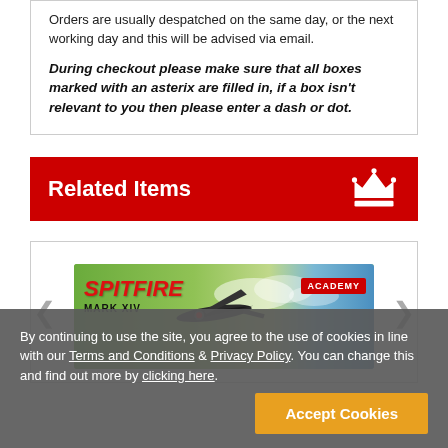Orders are usually despatched on the same day, or the next working day and this will be advised via email.
During checkout please make sure that all boxes marked with an asterix are filled in, if a box isn't relevant to you then please enter a dash or dot.
Related Items
[Figure (photo): Product image of Spitfire Mark XIV model kit box (Academy brand), showing a Spitfire aircraft flying over green and blue sky background.]
By continuing to use the site, you agree to the use of cookies in line with our Terms and Conditions & Privacy Policy. You can change this and find out more by clicking here.